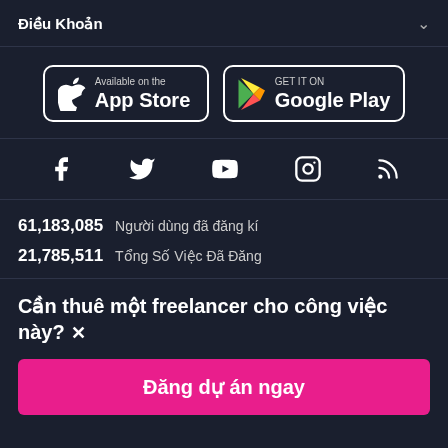Điều Khoản
[Figure (logo): App Store and Google Play download buttons]
[Figure (infographic): Social media icons: Facebook, Twitter, YouTube, Instagram, RSS]
61,183,085  Người dùng đã đăng kí
21,785,511  Tổng Số Việc Đã Đăng
Cần thuê một freelancer cho công việc này? ×
Đăng dự án ngay